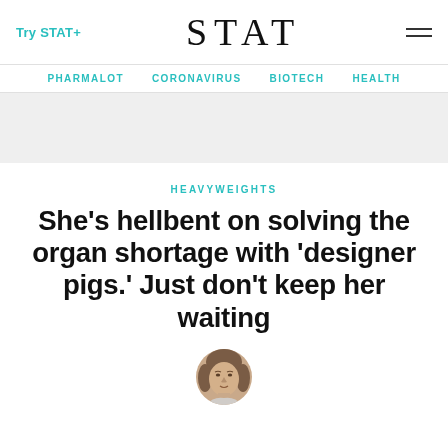Try STAT+   STAT   ☰
PHARMALOT   CORONAVIRUS   BIOTECH   HEALTH
HEAVYWEIGHTS
She's hellbent on solving the organ shortage with 'designer pigs.' Just don't keep her waiting
[Figure (photo): Circular portrait photo of a woman with short brown hair]